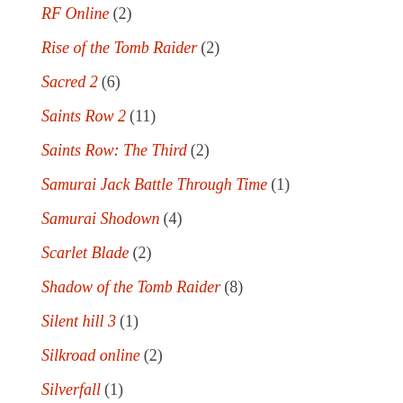RF Online (2)
Rise of the Tomb Raider (2)
Sacred 2 (6)
Saints Row 2 (11)
Saints Row: The Third (2)
Samurai Jack Battle Through Time (1)
Samurai Shodown (4)
Scarlet Blade (2)
Shadow of the Tomb Raider (8)
Silent hill 3 (1)
Silkroad online (2)
Silverfall (1)
Sims 2 (2)
Sims 3 (6)